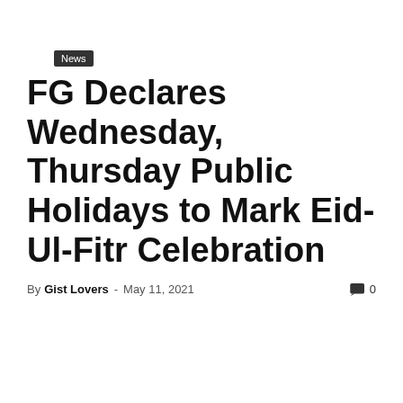News
FG Declares Wednesday, Thursday Public Holidays to Mark Eid-Ul-Fitr Celebration
By Gist Lovers - May 11, 2021  0